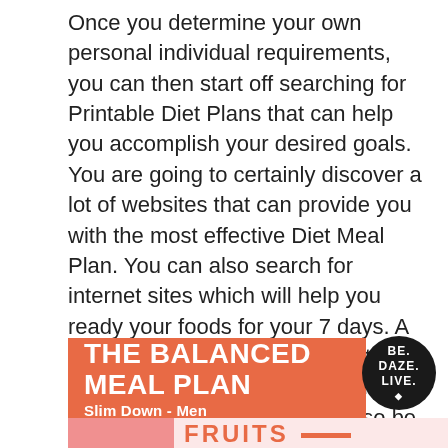Once you determine your own personal individual requirements, you can then start off searching for Printable Diet Plans that can help you accomplish your desired goals. You are going to certainly discover a lot of websites that can provide you with the most effective Diet Meal Plan. You can also search for internet sites which will help you ready your foods for your 7 days. A few of them will provide you with Printable Recipes that one could attempt. These recipes may also be employed because the foundation of the greatest Diet Meal Plan that they offer.
[Figure (infographic): Orange banner with white bold text 'THE BALANCED MEAL PLAN' and subtitle 'Slim Down - Men', with a circular black logo on the right reading 'BE. DAZE. LIVE.' with a diamond symbol]
[Figure (infographic): Partial view of a pink/salmon section with text 'FRUITS' in orange bold letters at the bottom of the page]